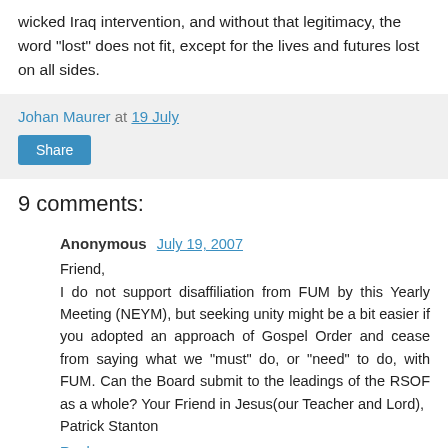wicked Iraq intervention, and without that legitimacy, the word "lost" does not fit, except for the lives and futures lost on all sides.
Johan Maurer at 19 July
Share
9 comments:
Anonymous July 19, 2007
Friend,
I do not support disaffiliation from FUM by this Yearly Meeting (NEYM), but seeking unity might be a bit easier if you adopted an approach of Gospel Order and cease from saying what we "must" do, or "need" to do, with FUM. Can the Board submit to the leadings of the RSOF as a whole? Your Friend in Jesus(our Teacher and Lord),
Patrick Stanton
Reply